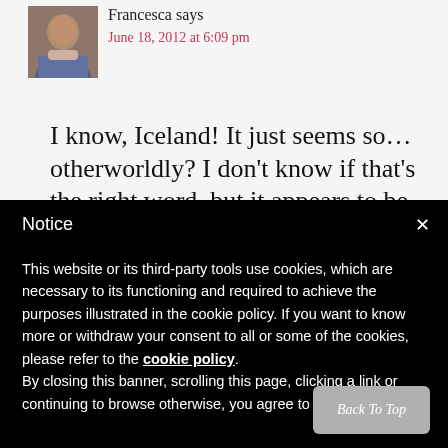Francesca says
June 18, 2012 at 6:09 pm
I know, Iceland! It just seems so... otherworldly? I don’t know if that’s the right word, but it appears to be
Notice
This website or its third-party tools use cookies, which are necessary to its functioning and required to achieve the purposes illustrated in the cookie policy. If you want to know more or withdraw your consent to all or some of the cookies, please refer to the cookie policy.
By closing this banner, scrolling this page, clicking a link or continuing to browse otherwise, you agree to the
Back To Top